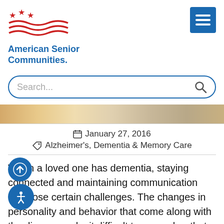[Figure (logo): American Senior Communities logo with red stars and wavy lines above blue text]
[Figure (screenshot): Blue hamburger menu button (three horizontal white lines on blue background)]
[Figure (screenshot): Search bar with placeholder text 'Search...' and magnifying glass icon]
[Figure (photo): Partial view of a hero image showing warm tones]
January 27, 2016
Alzheimer's, Dementia & Memory Care
When a loved one has dementia, staying connected and maintaining communication can pose certain challenges. The changes in personality and behavior that come along with the disease make it difficult to remember that our loved ones are still there, simply